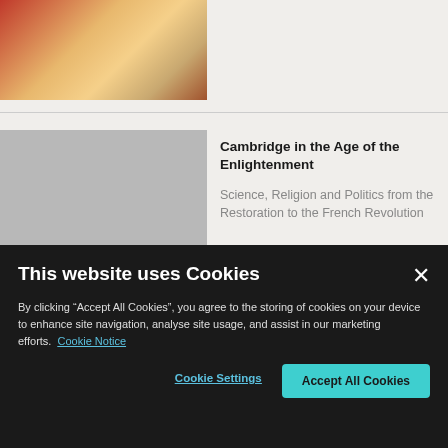[Figure (illustration): Partial view of a historical illustration showing figures in classical or medieval dress with red and warm-toned colors]
[Figure (logo): Cambridge University Press book cover - gray background with 'CAMBRIDGE UNIVERSITY PRESS' text in white at the bottom]
Cambridge in the Age of the Enlightenment
Science, Religion and Politics from the Restoration to the French Revolution
This website uses Cookies
By clicking “Accept All Cookies”, you agree to the storing of cookies on your device to enhance site navigation, analyse site usage, and assist in our marketing efforts. Cookie Notice
Cookie Settings
Accept All Cookies